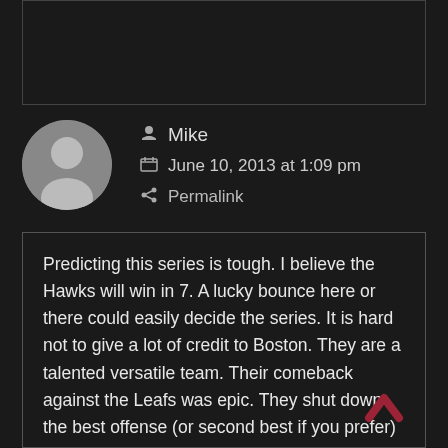(truncated top comment)
Mike
June 10, 2013 at 1:09 pm
Permalink
Predicting this series is tough. I believe the Hawks will win in 7. A lucky bounce here or there could easily decide the series. It is hard not to give a lot of credit to Boston. They are a talented versatile team. Their comeback against the Leafs was epic. They shut down the best offense (or second best if you prefer) in the league. They are riding a super HOT goalie.

The Hawks can change all of that with a huge game 1 effort. One key to this series is to steal